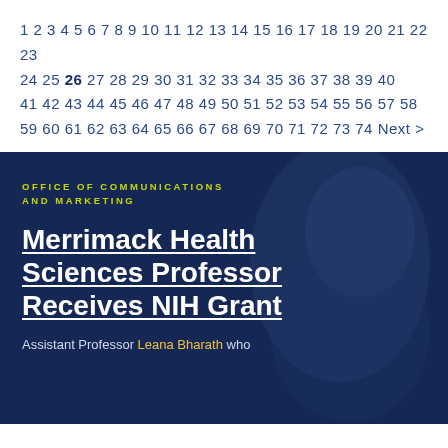1 2 3 4 5 6 7 8 9 10 11 12 13 14 15 16 17 18 19 20 21 22 23 24 25 26 27 28 29 30 31 32 33 34 35 36 37 38 39 40 41 42 43 44 45 46 47 48 49 50 51 52 53 54 55 56 57 58 59 60 61 62 63 64 65 66 67 68 69 70 71 72 73 74 Next >
[Figure (photo): Dark blue overlay photo of a person's face in the background, partially visible on the right side, with a deep navy blue tinted overlay.]
OFFICE OF COMMUNICATIONS AND MARKETING
Merrimack Health Sciences Professor Receives NIH Grant
Assistant Professor Leana Bharath who